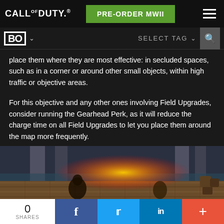CALL OF DUTY® | PRE-ORDER MWII
place them where they are most effective: in secluded spaces, such as in a corner or around other small objects, within high traffic or objective areas.
For this objective and any other ones involving Field Upgrades, consider running the Gearhead Perk, as it will reduce the charge time on all Field Upgrades to let you place them around the map more frequently.
[Figure (screenshot): In-game screenshot showing a Call of Duty action scene with explosion/fire on a wooden dock environment with pillars]
0 SHARES  |  Facebook  |  Twitter  |  LinkedIn  |  +